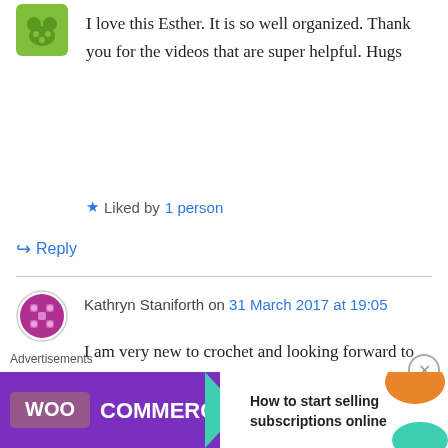[Figure (illustration): Green avatar icon with paw/face design]
I love this Esther. It is so well organized. Thank you for the videos that are super helpful. Hugs
★ Liked by 1 person
↳ Reply
[Figure (illustration): Purple/red circular pattern avatar for Kathryn Staniforth]
Kathryn Staniforth on 31 March 2017 at 19:05
I am very new to crochet and looking forward to this challeng. What is the best way to block the squares? There seems to be various options when I look online. Thank you
Advertisements
[Figure (illustration): WooCommerce advertisement banner: How to start selling subscriptions online]